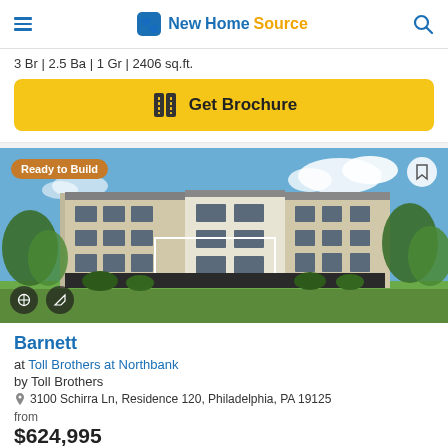NewHomeSource
3 Br | 2.5 Ba | 1 Gr | 2406 sq.ft.
Get Brochure
[Figure (photo): Exterior rendering of a modern 4-story townhouse building with gray and beige facade, large windows, trees and green lawn, blue sky with clouds. Badge: Ready to Build.]
Barnett
at Toll Brothers at Northbank
by Toll Brothers
3100 Schirra Ln, Residence 120, Philadelphia, PA 19125
$624,995